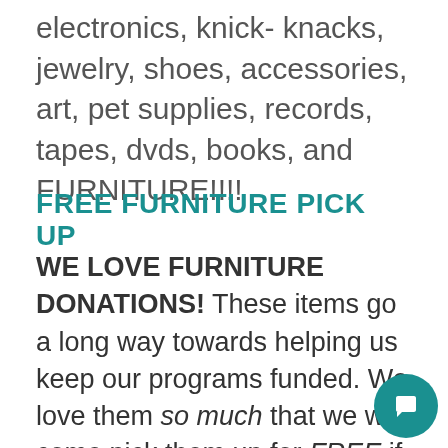electronics, knick- knacks, jewelry, shoes, accessories, art, pet supplies, records, tapes, dvds, books, and FURNITURE!!!!
FREE FURNITURE PICK UP
WE LOVE FURNITURE DONATIONS! These items go a long way towards helping us keep our programs funded. We love them so much that we will come pick them up for FREE if you live in Arcata, Eureka, or Mckinleyville. To schedule pick up call 707-822-5019. An employee will walk you through the process and